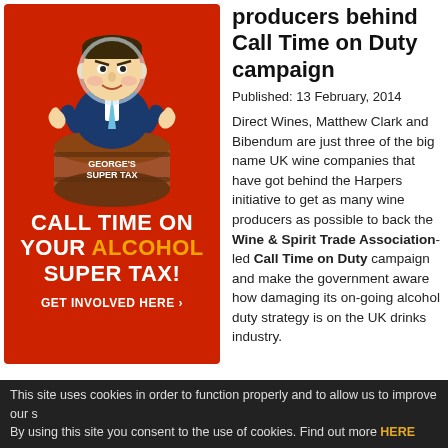[Figure (illustration): Red advertisement banner for 'Call Time on Your Alcohol Super Tax!' campaign featuring a caricature of a politician sitting on a barrel labeled 'George's Super Tax'. Text reads: CALL TIME ON YOUR ALCOHOL SUPER TAX! GET INVOLVED HERE ›]
producers behind Call Time on Duty campaign
Published:  13 February, 2014
Direct Wines, Matthew Clark and Bibendum are just three of the big name UK wine companies that have got behind the Harpers initiative to get as many wine producers as possible to back the Wine & Spirit Trade Association-led Call Time on Duty campaign and make the government aware how damaging its on-going alcohol duty strategy is on the UK drinks industry.
Read more...
This site uses cookies in order to function properly and to allow us to improve our s By using this site you consent to the use of cookies. Find out more HERE